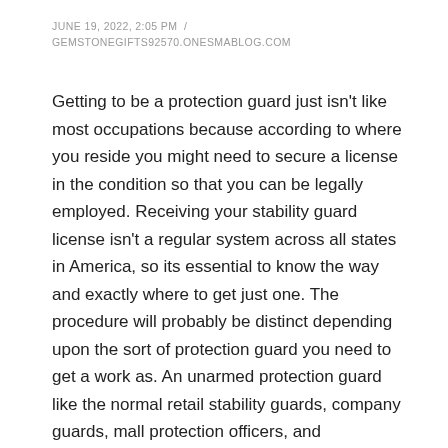JUNE 19, 2022, 2:05 PM / GEMSTONEGIFTS92570.ONESMABLOG.COM
Getting to be a protection guard just isn't like most occupations because according to where you reside you might need to secure a license in the condition so that you can be legally employed. Receiving your stability guard license isn't a regular system across all states in America, so its essential to know the way and exactly where to get just one. The procedure will probably be distinct depending upon the sort of protection guard you need to get a work as. An unarmed protection guard like the normal retail stability guards, company guards, mall protection officers, and comparable positions will likely have another set of necessities for a license than an armed security guard would have.